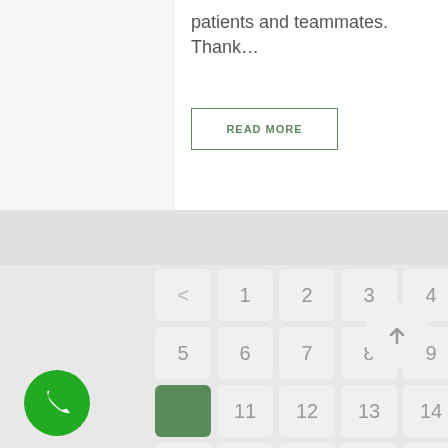patients and teammates. Thank…
READ MORE
[Figure (screenshot): Mobile app calendar grid showing numbers 1-29 with a green highlighted cell at position 10, navigation arrow, phone FAB button, and scroll-up FAB button]